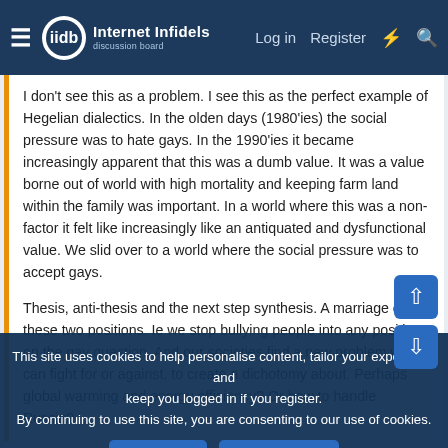Internet Infidels — Log in  Register
I don't see this as a problem. I see this as the perfect example of Hegelian dialectics. In the olden days (1980'ies) the social pressure was to hate gays. In the 1990'ies it became increasingly apparent that this was a dumb value. It was a value borne out of world with high mortality and keeping farm land within the family was important. In a world where this was a non-factor it felt like increasingly like an antiquated and dysfunctional value. We slid over to a world where the social pressure was to accept gays.
Thesis, anti-thesis and the next step synthesis. A marriage of these two positions. Ie we stop bullying people into any position on the gay question. And our societies find a new problem we can fight for or against, to create a dichotomy about. Perhaps global warming and energy efficiency? Or how to handle Russia?
Hegelianism is cancer. I am not under any obligation to
This site uses cookies to help personalise content, tailor your experience and keep you logged in if you register.
By continuing to use this site, you are consenting to our use of cookies.